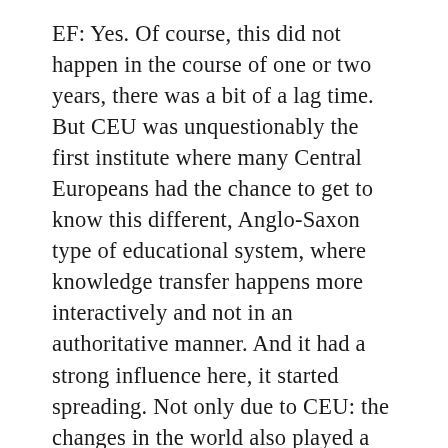EF: Yes. Of course, this did not happen in the course of one or two years, there was a bit of a lag time. But CEU was unquestionably the first institute where many Central Europeans had the chance to get to know this different, Anglo-Saxon type of educational system, where knowledge transfer happens more interactively and not in an authoritative manner. And it had a strong influence here, it started spreading. Not only due to CEU: the changes in the world also played a role, everybody traveled more, including the students. And over the years, more and more of our former students got into influential positions at universities in countries of the region. All we have said so far is about the effect CEU had on education. But let us not forget that after our students learned English well here and received an American degree, they went home and